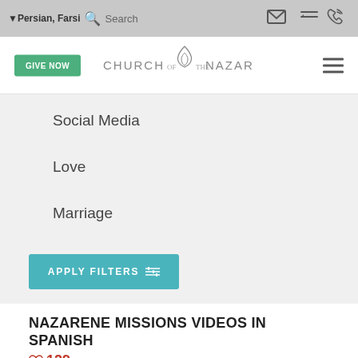Persian, Farsi  Search
[Figure (logo): Church of the Nazarene logo with flame emblem and text]
Social Media
Love
Marriage
Worship
APPLY FILTERS
NAZARENE MISSIONS VIDEOS IN SPANISH
129